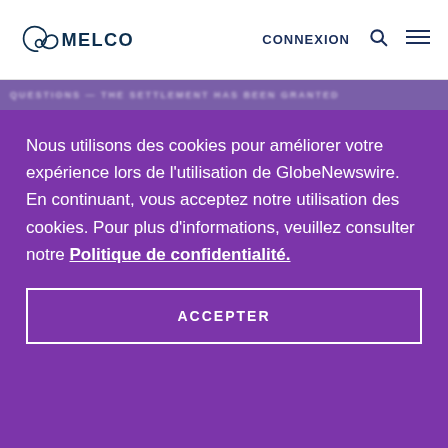MELCO | CONNEXION
Nous utilisons des cookies pour améliorer votre expérience lors de l'utilisation de GlobeNewswire. En continuant, vous acceptez notre utilisation des cookies. Pour plus d'informations, veuillez consulter notre Politique de confidentialité.
ACCEPTER